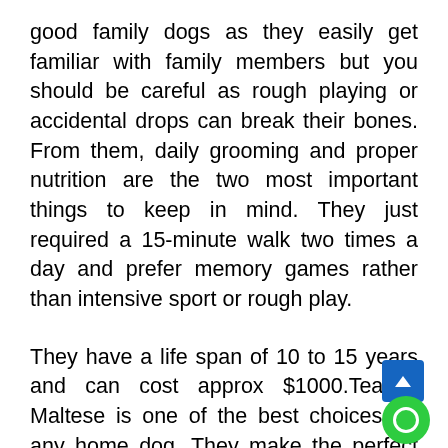good family dogs as they easily get familiar with family members but you should be careful as rough playing or accidental drops can break their bones. From them, daily grooming and proper nutrition are the two most important things to keep in mind. They just required a 15-minute walk two times a day and prefer memory games rather than intensive sport or rough play.
They have a life span of 10 to 15 years and can cost approx $1000.Teacup Maltese is one of the best choices for any home dog. They make the perfect indoor house dog and also a loving partner for the elderly and disabled ones. The love you gave to them will give that much affection and love right back a...